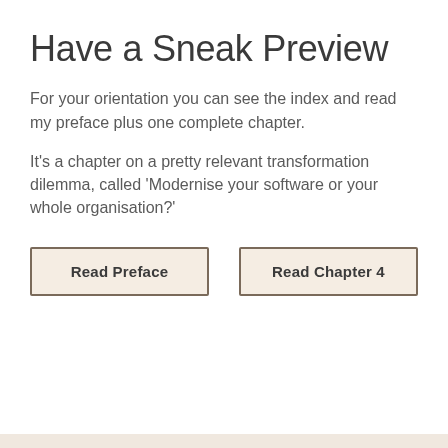Have a Sneak Preview
For your orientation you can see the index and read my preface plus one complete chapter.
It's a chapter on a pretty relevant transformation dilemma, called 'Modernise your software or your whole organisation?'
Read Preface
Read Chapter 4